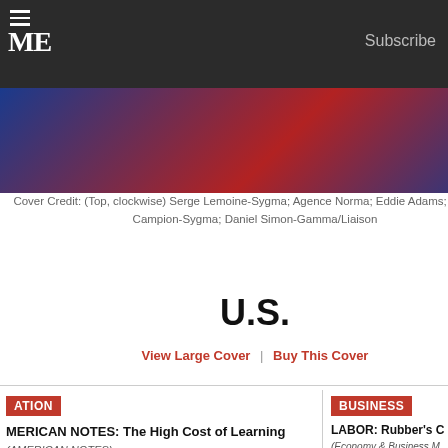TIME — Subscribe
[Figure (photo): TIME magazine cover showing playing cards with photos, red and blue background]
Cover Credit: (Top, clockwise) Serge Lemoine-Sygma; Agence Norma; Eddie Adams; Hubert le Campion-Sygma; Daniel Simon-Gamma/Liaison
U.S.
View Large Cover | Buy This Cover
NATION
BUSINESS
AMERICAN NOTES: The High Cost of Learning (AMERICAN NOTES)
Nation: An F in History
The Nation: Power Switch Hitters (The Nation)
LABOR: Rubber's C... (Economy & Business M...)
PHOTOGRAPHY: A... Friends (Economy & B...)
AGENCIES: Putting... (Economy & Business...)